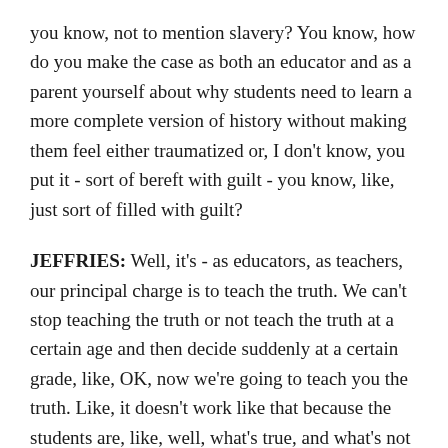you know, not to mention slavery? You know, how do you make the case as both an educator and as a parent yourself about why students need to learn a more complete version of history without making them feel either traumatized or, I don't know, you put it - sort of bereft with guilt - you know, like, just sort of filled with guilt?
JEFFRIES: Well, it's - as educators, as teachers, our principal charge is to teach the truth. We can't stop teaching the truth or not teach the truth at a certain age and then decide suddenly at a certain grade, like, OK, now we're going to teach you the truth. Like, it doesn't work like that because the students are, like, well, what's true, and what's not true? You know, you told me I was supposed to be celebrating, you know, these great presidents, you know, in the first grade, second grade and third grade. And then we get to the eighth